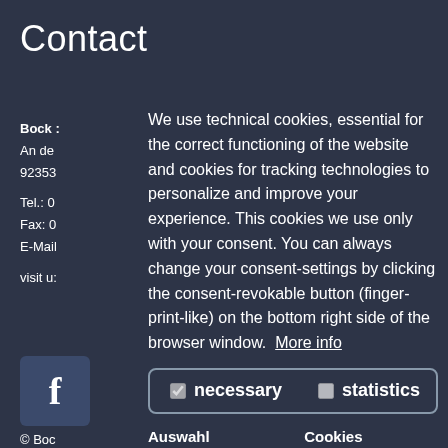Contact
Bock :
An de
92353
Tel.: 0
Fax: 0
E-Mail
visit us
We use technical cookies, essential for the correct functioning of the website and cookies for tracking technologies to personalize and improve your experience. This cookies we use only with your consent. You can always change your consent-settings by clicking the consent-revokable button (finger-print-like) on the bottom right side of the browser window. More info
necessary   statistics
Auswahl speichern   Cookies akzeptieren
[Figure (logo): Facebook logo icon — white 'f' on dark blue/grey square]
© Boc